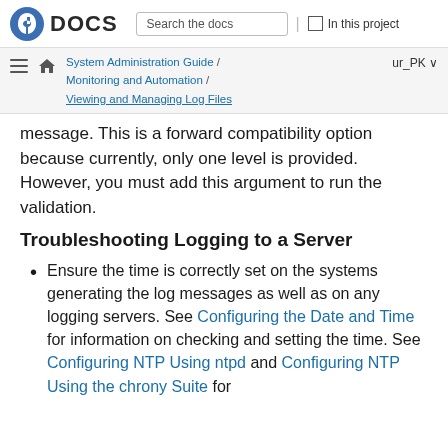Fedora DOCS | Search the docs | In this project
System Administration Guide / Monitoring and Automation / Viewing and Managing Log Files | ur_PK
message. This is a forward compatibility option because currently, only one level is provided. However, you must add this argument to run the validation.
Troubleshooting Logging to a Server
Ensure the time is correctly set on the systems generating the log messages as well as on any logging servers. See Configuring the Date and Time for information on checking and setting the time. See Configuring NTP Using ntpd and Configuring NTP Using the chrony Suite for